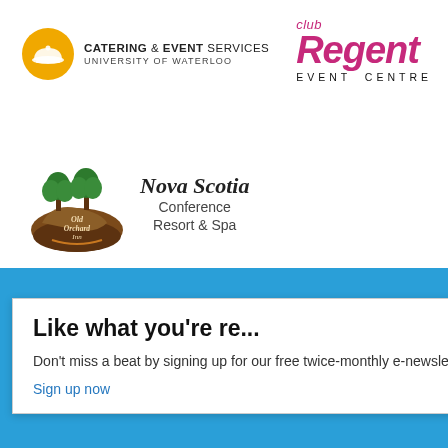[Figure (logo): Catering & Event Services University of Waterloo logo — yellow circle with cloche icon, text to the right]
[Figure (logo): Club Regent Event Centre logo — pink/magenta italic text]
[Figure (logo): Old Orchard Inn Nova Scotia Conference Resort & Spa logo — illustrated tree/orchard logo with text]
[Figure (screenshot): Blue background section with a white popup overlay reading 'Like what you're re...' with close button, newsletter signup call to action, and partial website screenshot on the right]